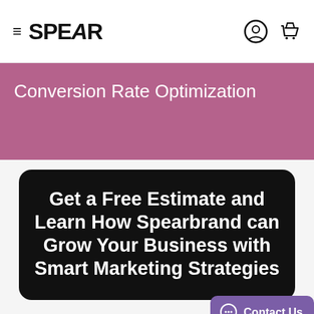≡ SPEAR
Conversion Rate Optimization
Get a Free Estimate and Learn How Spearbrand can Grow Your Business with Smart Marketing Strategies
Let us know about you to
Contact Us